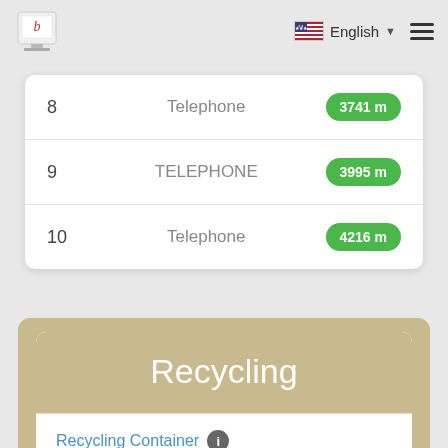English
8  Telephone  3741 m
9  TELEPHONE  3995 m
10  Telephone  4216 m
Recycling
Recycling Container ℹ